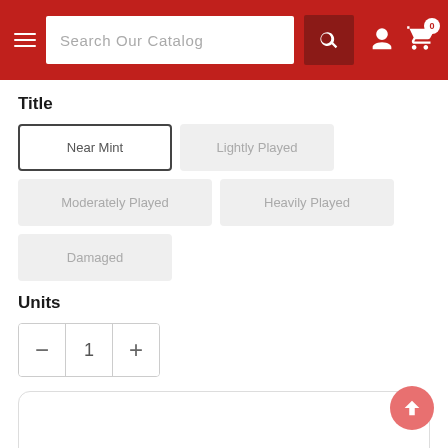Search Our Catalog
Title
Near Mint
Lightly Played
Moderately Played
Heavily Played
Damaged
Units
1